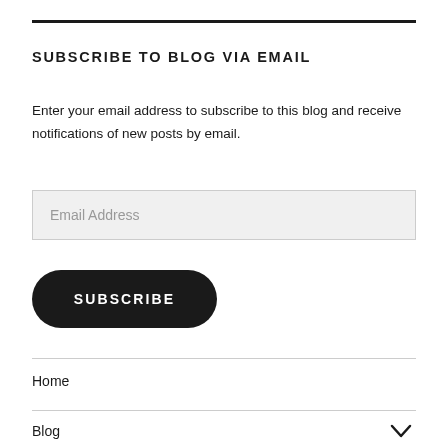SUBSCRIBE TO BLOG VIA EMAIL
Enter your email address to subscribe to this blog and receive notifications of new posts by email.
Email Address
SUBSCRIBE
Home
Blog